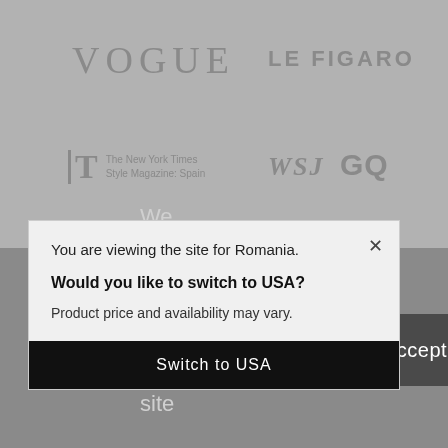[Figure (screenshot): Background logos: VOGUE, LE FIGARO, The New York Times Style Magazine: Spain, WSJ, GQ on grey background]
You are viewing the site for Romania.
Would you like to switch to USA?
Product price and availability may vary.
Switch to USA
We use cook on this site
Accept